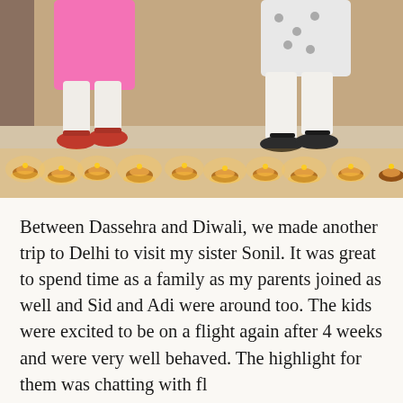[Figure (photo): Two children standing on a doorstep with diyas (oil lamps) lit in a row in front of them. The child on the left wears a pink outfit with red shoes, the child on the right wears white clothes with sandals. The warm glow of the diyas illuminates the floor.]
Between Dassehra and Diwali, we made another trip to Delhi to visit my sister Sonil. It was great to spend time as a family as my parents joined as well and Sid and Adi were around too. The kids were excited to be on a flight again after 4 weeks and were very well behaved. The highlight for them was chatting with flight crew...